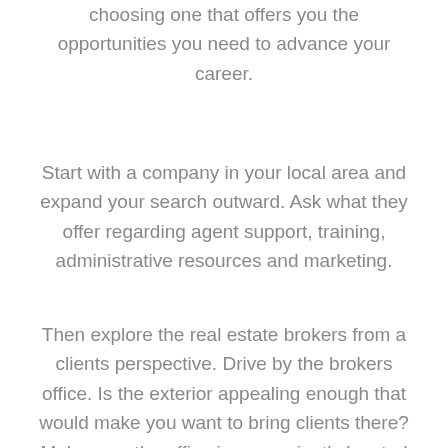choosing one that offers you the opportunities you need to advance your career.
Start with a company in your local area and expand your search outward. Ask what they offer regarding agent support, training, administrative resources and marketing.
Then explore the real estate brokers from a clients perspective. Drive by the brokers office. Is the exterior appealing enough that would make you want to bring clients there? Make sure the office is conveniently located and has plenty of parking available for your clients. Evaluate the degree of professionalism